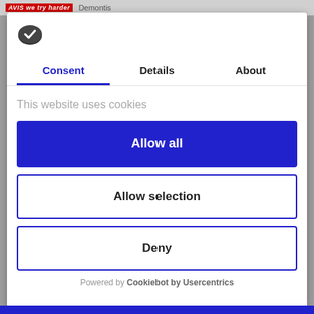AVIS   Demontis
[Figure (logo): Cookiebot cookie icon - dark oval shape with checkmark]
Consent | Details | About
This website uses cookies
Allow all
Allow selection
Deny
Powered by Cookiebot by Usercentrics